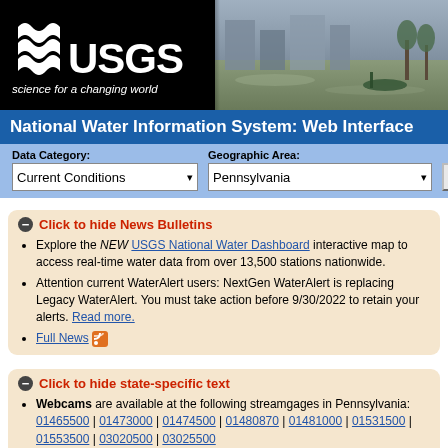[Figure (logo): USGS logo banner with 'science for a changing world' tagline and flood photo]
National Water Information System: Web Interface
Data Category: Current Conditions | Geographic Area: Pennsylvania | GO
Click to hide News Bulletins
Explore the NEW USGS National Water Dashboard interactive map to access real-time water data from over 13,500 stations nationwide.
Attention current WaterAlert users: NextGen WaterAlert is replacing Legacy WaterAlert. You must take action before 9/30/2022 to retain your alerts. Read more.
Full News [RSS]
Click to hide state-specific text
Webcams are available at the following streamgages in Pennsylvania: 01465500 | 01473000 | 01474500 | 01480870 | 01481000 | 01531500 | 01553500 | 03020500 | 03025500